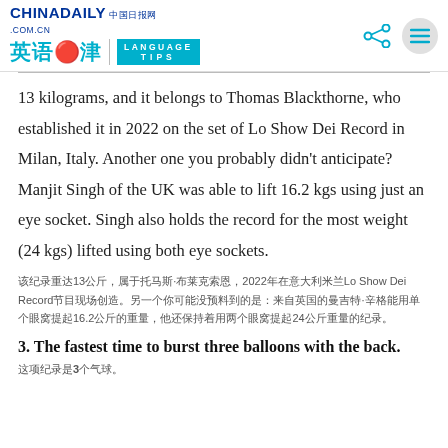CHINADAILY 中国日报网 .COM.CN 英语点津 | LANGUAGE TIPS
13 kilograms, and it belongs to Thomas Blackthorne, who established it in 2022 on the set of Lo Show Dei Record in Milan, Italy. Another one you probably didn't anticipate? Manjit Singh of the UK was able to lift 16.2 kgs using just an eye socket. Singh also holds the record for the most weight (24 kgs) lifted using both eye sockets.
该纪录属于托马斯·布莱克索恩，重达13公斤，2022年在意大利米兰Lo Show Dei Record节目现场创造。另一个你可能没预料到的纪录是英国的曼吉特·辛格用眼窝提起16.2公斤重物，他还保持着用两个眼窝提起24公斤重物的纪录。
3. The fastest time to burst three balloons with the back.
这项纪录是3个气球。